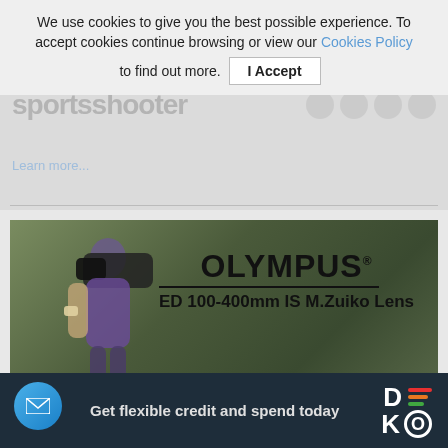We use cookies to give you the best possible experience. To accept cookies continue browsing or view our Cookies Policy to find out more.
I Accept
[Figure (photo): Advertisement image for Olympus ED 100-400mm IS M.Zuiko Lens showing a tattooed photographer shooting with a camera lens against a leafy background, with Olympus branding on the right side]
A weekend in the life of the
Get flexible credit and spend today
[Figure (logo): DEKO logo with colored horizontal bars (red, orange, green) next to the letters D and K, O with a circle]